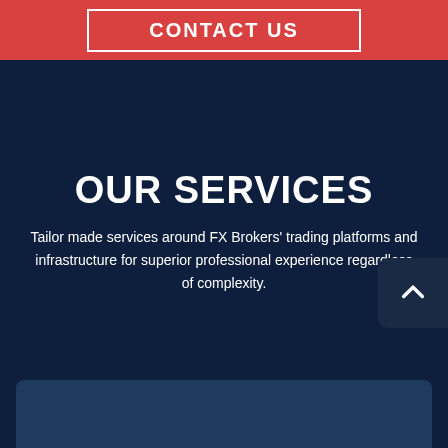CONTACT US
OUR SERVICES
Tailor made services around FX Brokers' trading platforms and infrastructure for superior professional experience regardless of complexity.